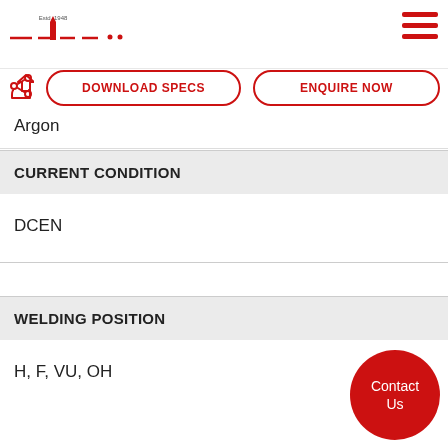[Figure (logo): Company logo with 'Estd. 1948' text and red dashes/lines]
[Figure (other): Hamburger menu icon (three red horizontal lines)]
[Figure (other): Share icon (red)]
DOWNLOAD SPECS
ENQUIRE NOW
Argon
CURRENT CONDITION
DCEN
WELDING POSITION
H, F, VU, OH
Contact Us